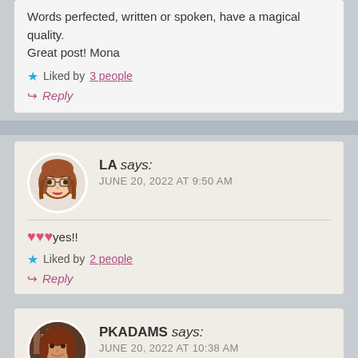Words perfected, written or spoken, have a magical quality. Great post! Mona
★ Liked by 3 people
↪ Reply
LA says: JUNE 20, 2022 AT 9:50 AM
❤❤❤yes!!
★ Liked by 2 people
↪ Reply
PKADAMS says: JUNE 20, 2022 AT 10:38 AM